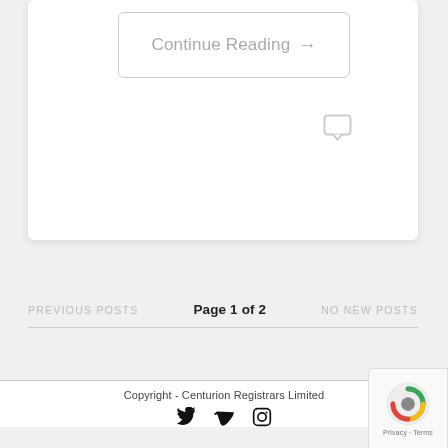[Figure (screenshot): Continue Reading button with right arrow, light gray border, rounded rectangle]
[Figure (illustration): Small speech/comment bubble icon in light gray]
PREVIOUS POSTS    Page 1 of 2    NO NEW POSTS
Copyright - Centurion Registrars Limited
[Figure (logo): Twitter, Vimeo, and Instagram social media icons in black]
[Figure (logo): reCAPTCHA badge with Google logo, Privacy and Terms links]